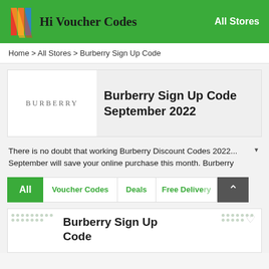Hi Voucher Codes — All Stores
Home > All Stores > Burberry Sign Up Code
[Figure (logo): Burberry brand logo showing text BURBERRY in spaced capitals]
Burberry Sign Up Code September 2022
There is no doubt that working Burberry Discount Codes 2022... September will save your online purchase this month. Burberry
All
Voucher Codes
Deals
Free Delivery
Burberry Sign Up Code